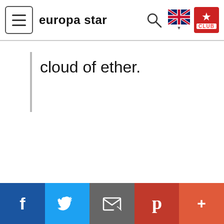europa star
cloud of ether.
Social share bar: Facebook, Twitter, Email, Pinterest, More